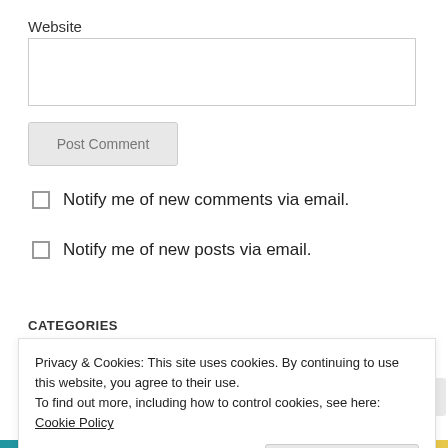Website
[Figure (screenshot): Website text input field (empty)]
Post Comment
Notify me of new comments via email.
Notify me of new posts via email.
CATEGORIES
Select Category
Privacy & Cookies: This site uses cookies. By continuing to use this website, you agree to their use.
To find out more, including how to control cookies, see here: Cookie Policy
Close and accept